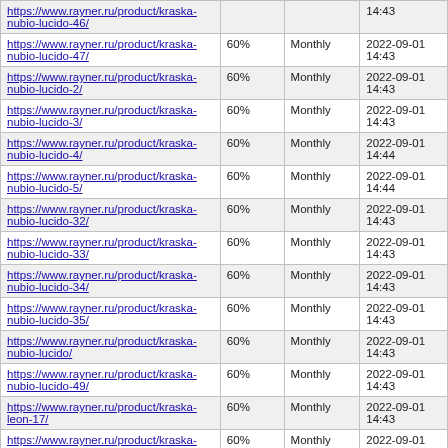| https://www.rayner.ru/product/kraska-nubio-lucido-46/ |  |  | 14:43 |
| https://www.rayner.ru/product/kraska-nubio-lucido-47/ | 60% | Monthly | 2022-09-01 14:43 |
| https://www.rayner.ru/product/kraska-nubio-lucido-2/ | 60% | Monthly | 2022-09-01 14:43 |
| https://www.rayner.ru/product/kraska-nubio-lucido-3/ | 60% | Monthly | 2022-09-01 14:43 |
| https://www.rayner.ru/product/kraska-nubio-lucido-4/ | 60% | Monthly | 2022-09-01 14:44 |
| https://www.rayner.ru/product/kraska-nubio-lucido-5/ | 60% | Monthly | 2022-09-01 14:44 |
| https://www.rayner.ru/product/kraska-nubio-lucido-32/ | 60% | Monthly | 2022-09-01 14:43 |
| https://www.rayner.ru/product/kraska-nubio-lucido-33/ | 60% | Monthly | 2022-09-01 14:43 |
| https://www.rayner.ru/product/kraska-nubio-lucido-34/ | 60% | Monthly | 2022-09-01 14:43 |
| https://www.rayner.ru/product/kraska-nubio-lucido-35/ | 60% | Monthly | 2022-09-01 14:43 |
| https://www.rayner.ru/product/kraska-nubio-lucido/ | 60% | Monthly | 2022-09-01 14:43 |
| https://www.rayner.ru/product/kraska-nubio-lucido-49/ | 60% | Monthly | 2022-09-01 14:43 |
| https://www.rayner.ru/product/kraska-leon-17/ | 60% | Monthly | 2022-09-01 14:43 |
| https://www.rayner.ru/product/kraska-leon-6/ | 60% | Monthly | 2022-09-01 14:43 |
| https://www.rayner.ru/product/kraska-leon-9/ | 60% | Monthly | 2022-09-01 14:43 |
| https://www.rayner.ru/product/kraska-leon-10/ | 60% | Monthly | 2022-09-01 14:43 |
| https://www.rayner.ru/product/kraska-leon-11/ | 60% | Monthly | 2022-09-01 14:43 |